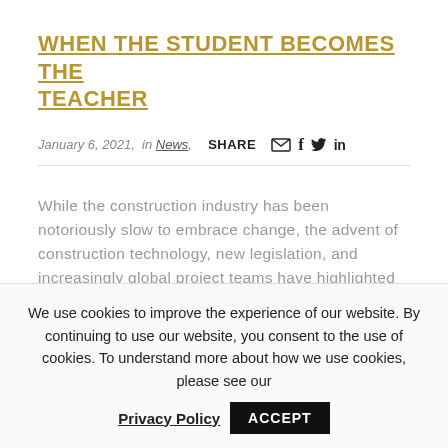WHEN THE STUDENT BECOMES THE TEACHER
January 6, 2021,  in News,  SHARE
While the construction industry has been notoriously slow to embrace change, the advent of construction technology, new legislation, and increasingly global project teams have highlighted the importance of education. Critically examining existing methodologies and...
We use cookies to improve the experience of our website. By continuing to use our website, you consent to the use of cookies. To understand more about how we use cookies, please see our
Privacy Policy  ACCEPT